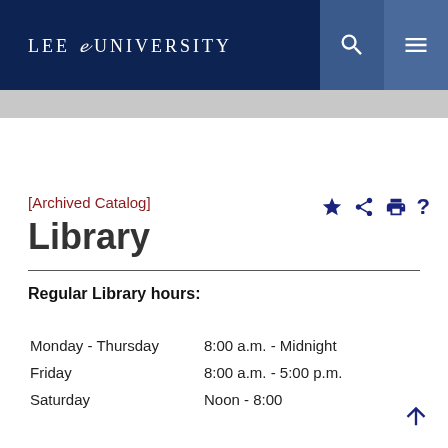LEE UNIVERSITY
^ Catalog Navigation
[Archived Catalog]
Library
Regular Library hours:
| Day | Hours |
| --- | --- |
| Monday - Thursday | 8:00 a.m. - Midnight |
| Friday | 8:00 a.m. - 5:00 p.m. |
| Saturday | Noon - 8:00... |